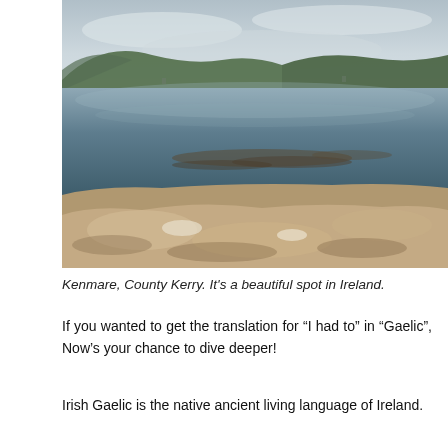[Figure (photo): A landscape photograph of Kenmare, County Kerry, Ireland. The foreground shows rocky limestone or mineral deposits. The middle ground features a calm, dark water body reflecting the sky. The background shows green hillsides and mountains under a cloudy sky.]
Kenmare, County Kerry. It's a beautiful spot in Ireland.
If you wanted to get the translation for “I had to” in "Gaelic", Now's your chance to dive deeper!
Irish Gaelic is the native ancient living language of Ireland.